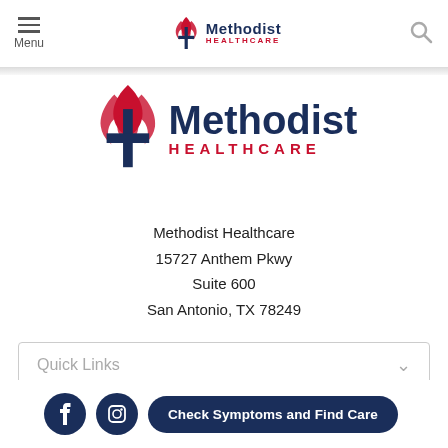Menu | Methodist Healthcare (nav logo) | Search
[Figure (logo): Methodist Healthcare logo with UMC cross and flame symbol, large centered version]
Methodist Healthcare
15727 Anthem Pkwy
Suite 600
San Antonio, TX 78249
Telephone: (210) 575-0355
Quick Links
Check Symptoms and Find Care